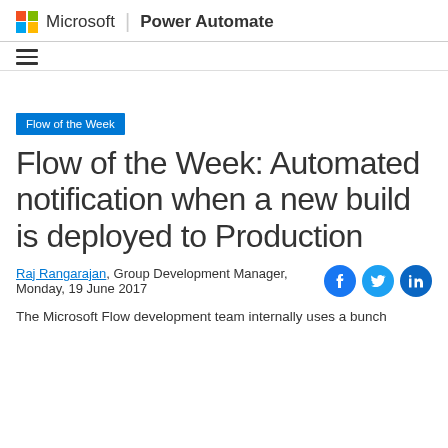Microsoft | Power Automate
[Figure (logo): Microsoft logo (four colored squares) with Microsoft text and Power Automate product name]
Flow of the Week
Flow of the Week: Automated notification when a new build is deployed to Production
Raj Rangarajan, Group Development Manager, Monday, 19 June 2017
The Microsoft Flow development team internally uses a bunch